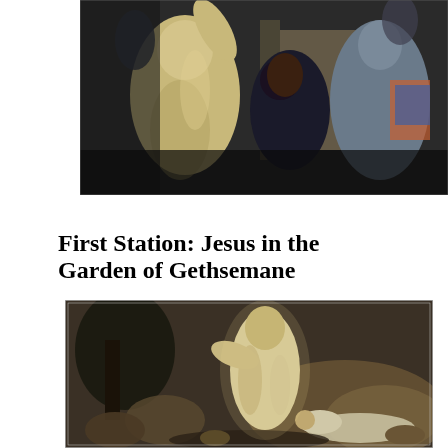[Figure (illustration): A painting depicting robed figures, one in white/cream robes with arm raised, another in dark robes bent over, and a third in grey/blue robes on the right, with stone walls in the background.]
First Station: Jesus in the Garden of Gethsemane
[Figure (illustration): A painting of Jesus in white robes in the Garden of Gethsemane at night, with a figure lying prostrate on the ground before rocky terrain and trees in the dark background.]